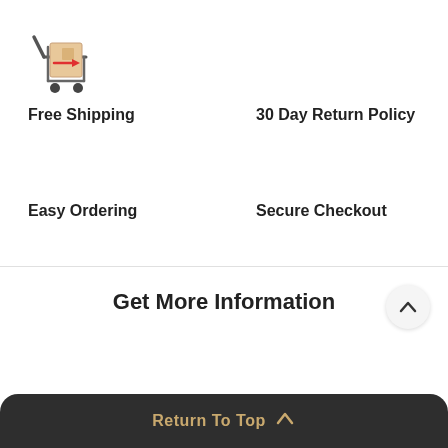[Figure (illustration): Shipping cart icon with a box and red arrow]
Free Shipping
30 Day Return Policy
Easy Ordering
Secure Checkout
Get More Information
Return To Top ↑